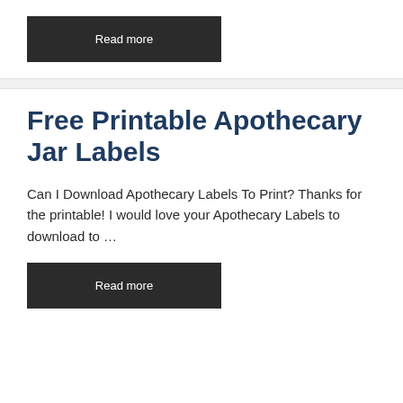Read more
Free Printable Apothecary Jar Labels
Can I Download Apothecary Labels To Print? Thanks for the printable! I would love your Apothecary Labels to download to …
Read more